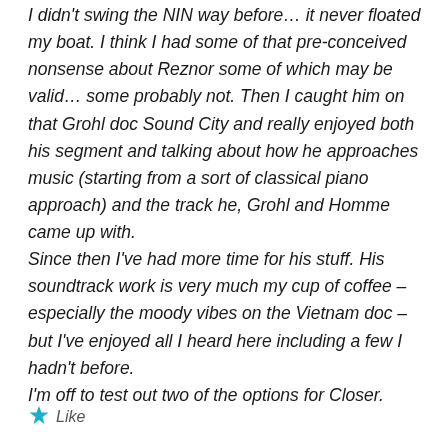I didn't swing the NIN way before… it never floated my boat. I think I had some of that pre-conceived nonsense about Reznor some of which may be valid… some probably not. Then I caught him on that Grohl doc Sound City and really enjoyed both his segment and talking about how he approaches music (starting from a sort of classical piano approach) and the track he, Grohl and Homme came up with.
Since then I've had more time for his stuff. His soundtrack work is very much my cup of coffee – especially the moody vibes on the Vietnam doc – but I've enjoyed all I heard here including a few I hadn't before.
I'm off to test out two of the options for Closer.
Like